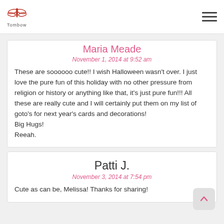Tombow
Maria Meade
November 1, 2014 at 9:52 am
These are soooooo cute!! I wish Halloween wasn't over. I just love the pure fun of this holiday with no other pressure from religion or history or anything like that, it's just pure fun!!! All these are really cute and I will certainly put them on my list of goto's for next year's cards and decorations! Big Hugs! Reeah.
Patti J.
November 3, 2014 at 7:54 pm
Cute as can be, Melissa! Thanks for sharing!